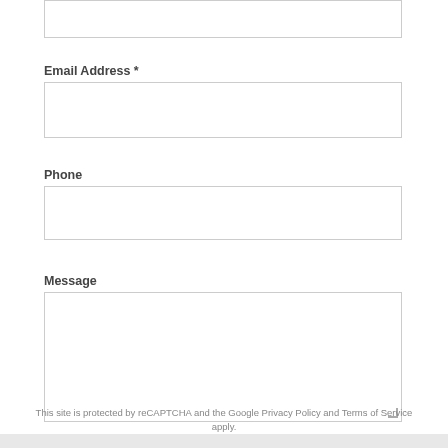Email Address *
Phone
Message
This site is protected by reCAPTCHA and the Google Privacy Policy and Terms of Service apply.